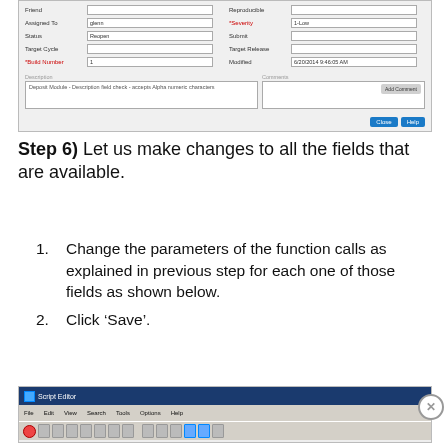[Figure (screenshot): A software form/dialog window showing fields: Friend, Assigned To (filled with 'glenn'), Reproducible, Severity (red, 1-Low), Status (Reopen), Submit, Target Cycle, Target Release, Build Number (red, 1), Modified (6/20/2014 9:46:05 AM), Description text area, Comments area, and Close/Help buttons.]
Step 6) Let us make changes to all the fields that are available.
Change the parameters of the function calls as explained in previous step for each one of those fields as shown below.
Click ‘Save’.
[Figure (screenshot): Script Editor application window with title bar showing 'Script Editor' and menu bar with File, Edit, View, Search, Tools, Options, Help, and a toolbar with various icon buttons.]